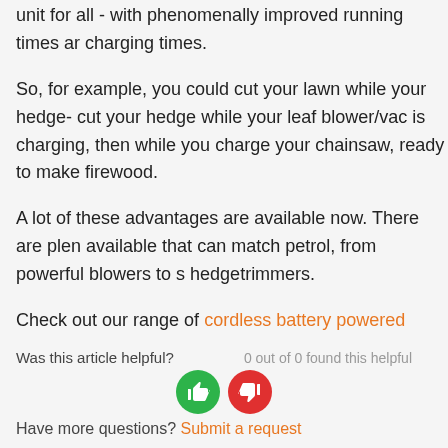unit for all - with phenomenally improved running times and charging times.
So, for example, you could cut your lawn while your hedge- cut your hedge while your leaf blower/vac is charging, then while you charge your chainsaw, ready to make firewood.
A lot of these advantages are available now. There are plenty available that can match petrol, from powerful blowers to s hedgetrimmers.
Check out our range of cordless battery powered tools here
Was this article helpful?
0 out of 0 found this helpful
Have more questions? Submit a request